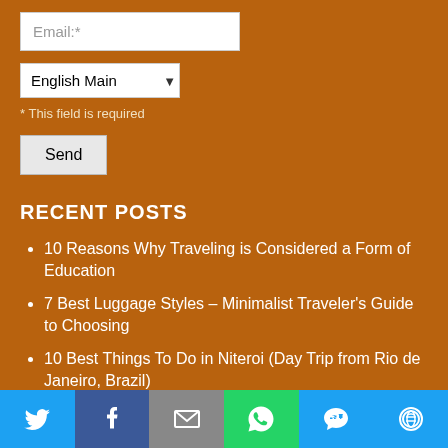Email:*
English Main
* This field is required
Send
RECENT POSTS
10 Reasons Why Traveling is Considered a Form of Education
7 Best Luggage Styles – Minimalist Traveler's Guide to Choosing
10 Best Things To Do in Niteroi (Day Trip from Rio de Janeiro, Brazil)
10 Useful Tips to Best Prepare for Your First Trip to Europe
[Figure (infographic): Social share bar with Twitter, Facebook, Email, WhatsApp, SMS, and More buttons]